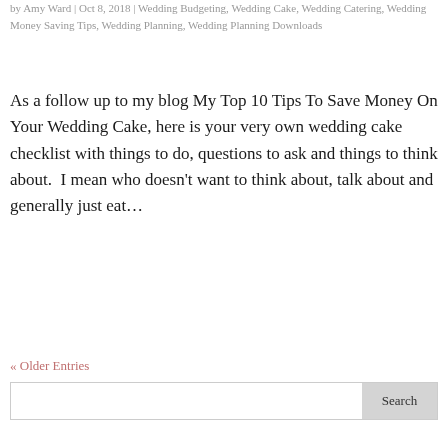by Amy Ward | Oct 8, 2018 | Wedding Budgeting, Wedding Cake, Wedding Catering, Wedding Money Saving Tips, Wedding Planning, Wedding Planning Downloads
As a follow up to my blog My Top 10 Tips To Save Money On Your Wedding Cake, here is your very own wedding cake checklist with things to do, questions to ask and things to think about.  I mean who doesn't want to think about, talk about and generally just eat…
« Older Entries